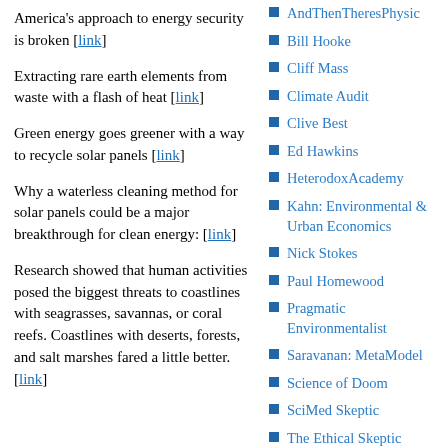America's approach to energy security is broken [link]
Extracting rare earth elements from waste with a flash of heat [link]
Green energy goes greener with a way to recycle solar panels [link]
Why a waterless cleaning method for solar panels could be a major breakthrough for clean energy: [link]
Research showed that human activities posed the biggest threats to coastlines with seagrasses, savannas, or coral reefs. Coastlines with deserts, forests, and salt marshes fared a little better. [link]
AndThenTheresPhysic
Bill Hooke
Cliff Mass
Climate Audit
Clive Best
Ed Hawkins
HeterodoxAcademy
Kahn: Environmental & Urban Economics
Nick Stokes
Paul Homewood
Pragmatic Environmentalist
Saravanan: MetaModel
Science of Doom
SciMed Skeptic
The Ethical Skeptic